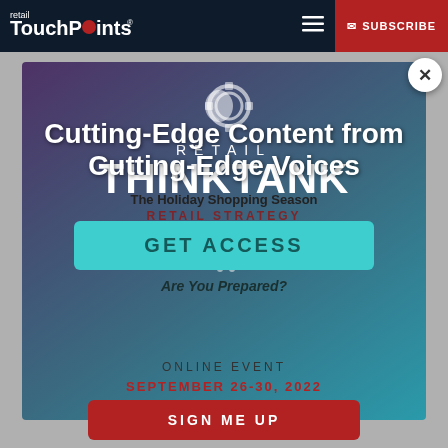retail TouchPoints | SUBSCRIBE
[Figure (screenshot): Retail ThinkTank event promotional card with brain/gear icon, 'RETAIL THINKTANK' title text, overlaid by a GET ACCESS modal popup with headline 'Cutting-Edge Content from Cutting-Edge Voices', subtext 'The Holiday Shopping Season Are You Prepared?', and a teal GET ACCESS button. Background shows 'RETAIL STRATEGY & PLANNING' text. Close (X) button top right.]
ONLINE EVENT
SEPTEMBER 26-30, 2022
SIGN ME UP